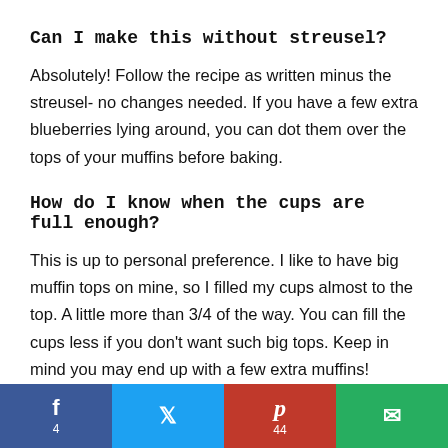Can I make this without streusel?
Absolutely! Follow the recipe as written minus the streusel- no changes needed. If you have a few extra blueberries lying around, you can dot them over the tops of your muffins before baking.
How do I know when the cups are full enough?
This is up to personal preference. I like to have big muffin tops on mine, so I filled my cups almost to the top. A little more than 3/4 of the way. You can fill the cups less if you don't want such big tops. Keep in mind you may end up with a few extra muffins!
f 4 | Twitter | p 44 | Email